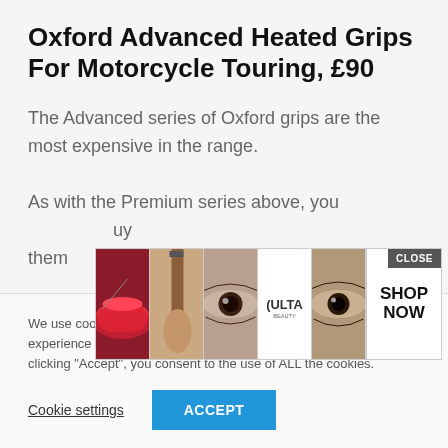Oxford Advanced Heated Grips For Motorcycle Touring, £90
The Advanced series of Oxford grips are the most expensive in the range.
As with the Premium series above, you uy them like.
[Figure (screenshot): Advertisement banner overlay with close button showing beauty/makeup images and Ulta Beauty branding with SHOP NOW call to action]
We use cookies on our website to give you the most relevant experience by remembering your preferences and repeat visits. By clicking "Accept", you consent to the use of ALL the cookies.
Cookie settings   ACCEPT